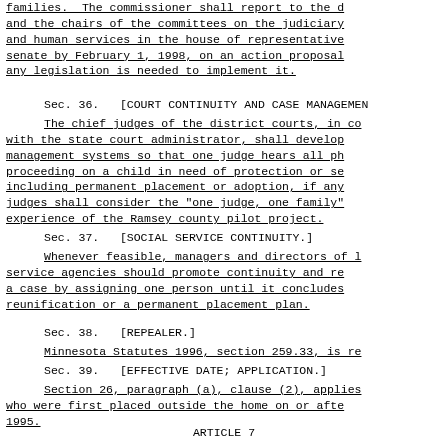families.  The commissioner shall report to the d and the chairs of the committees on the judiciary and human services in the house of representative senate by February 1, 1998, on an action proposal any legislation is needed to implement it.
Sec. 36.  [COURT CONTINUITY AND CASE MANAGEMEN
The chief judges of the district courts, in co with the state court administrator, shall develop management systems so that one judge hears all ph proceeding on a child in need of protection or se including permanent placement or adoption, if any judges shall consider the "one judge, one family" experience of the Ramsey county pilot project.
Sec. 37.  [SOCIAL SERVICE CONTINUITY.]
Whenever feasible, managers and directors of l service agencies should promote continuity and re a case by assigning one person until it concludes reunification or a permanent placement plan.
Sec. 38.  [REPEALER.]
Minnesota Statutes 1996, section 259.33, is re
Sec. 39.  [EFFECTIVE DATE; APPLICATION.]
Section 26, paragraph (a), clause (2), applies who were first placed outside the home on or afte 1995.
ARTICLE 7